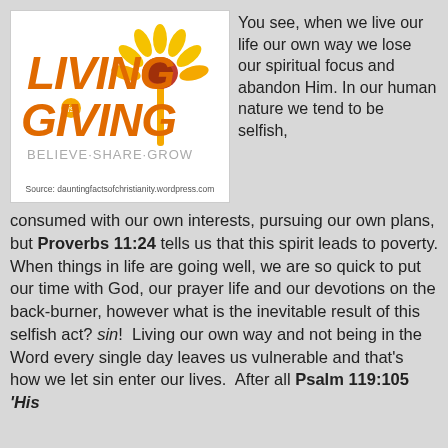[Figure (logo): Living is Giving logo with orange text 'LIVING' and 'GIVING', a golden sunflower, and tagline 'BELIEVE·SHARE·GROW' in gray]
Source: dauntingfactsofchristianity.wordpress.com
You see, when we live our life our own way we lose our spiritual focus and abandon Him. In our human nature we tend to be selfish,
consumed with our own interests, pursuing our own plans, but Proverbs 11:24 tells us that this spirit leads to poverty. When things in life are going well, we are so quick to put our time with God, our prayer life and our devotions on the back-burner, however what is the inevitable result of this selfish act? sin!  Living our own way and not being in the Word every single day leaves us vulnerable and that's how we let sin enter our lives.  After all Psalm 119:105 'His